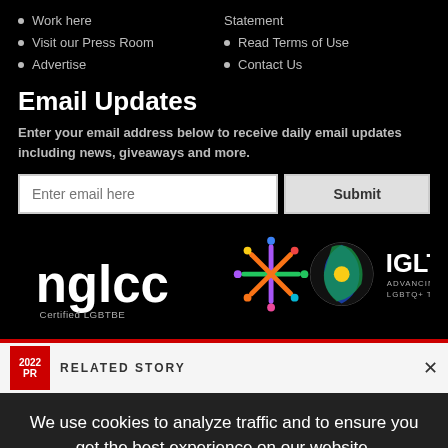Work here
Visit our Press Room
Advertise
Statement
Read Terms of Use
Contact Us
Email Updates
Enter your email address below to receive daily email updates including news, giveaways and more.
[Figure (logo): NGLCC Certified LGBTBE logo, IGLTA Advancing LGBTQ+ Travel logo with colorful circular graphic]
RELATED STORY
We use cookies to analyze traffic and to ensure you get the best experience on our website.